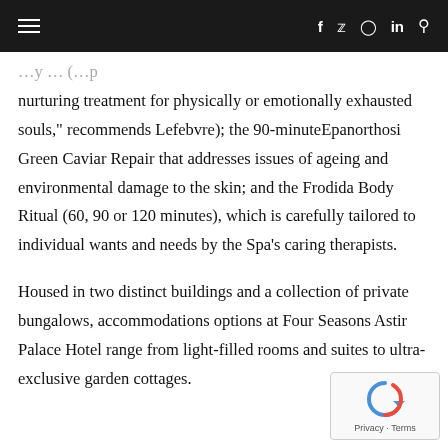≡   f  twitter  instagram  in  search
nurturing treatment for physically or emotionally exhausted souls," recommends Lefebvre); the 90-minuteEpanorthosi Green Caviar Repair that addresses issues of ageing and environmental damage to the skin; and the Frodida Body Ritual (60, 90 or 120 minutes), which is carefully tailored to individual wants and needs by the Spa's caring therapists.
Housed in two distinct buildings and a collection of private bungalows, accommodations options at Four Seasons Astir Palace Hotel range from light-filled rooms and suites to ultra-exclusive garden cottages.